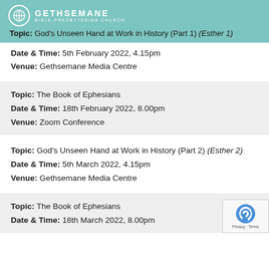GETHSEMANE BIBLE-PRESBYTERIAN CHURCH
Topic: God's Unseen Hand at Work in History (Part 1) (Esther 1)
Date & Time: 5th February 2022, 4.15pm
Venue: Gethsemane Media Centre
Topic: The Book of Ephesians
Date & Time: 18th February 2022, 8.00pm
Venue: Zoom Conference
Topic: God's Unseen Hand at Work in History (Part 2) (Esther 2)
Date & Time: 5th March 2022, 4.15pm
Venue: Gethsemane Media Centre
Topic: The Book of Ephesians
Date & Time: 18th March 2022, 8.00pm